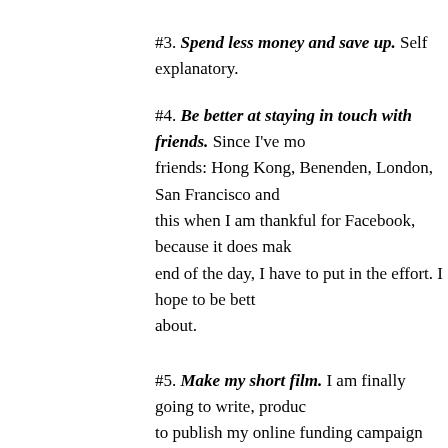#3. Spend less money and save up. Self explanatory.
#4. Be better at staying in touch with friends. Since I've moved around a lot I have friends: Hong Kong, Benenden, London, San Francisco and... this when I am thankful for Facebook, because it does make... end of the day, I have to put in the effort. I hope to be bett... about.
#5. Make my short film. I am finally going to write, produc... to publish my online funding campaign with Indie Go Go by... working on four feature films, I'm finally ready to take on th... don't think I was even close to being ready or mentally p... strength and knowledge to embark on this journey. I kno... ambitious project, but I'm ready to be proactive. I am ready t...
#6. (Still haven't) watch(ed) all Woody Allen movies. Self ex...